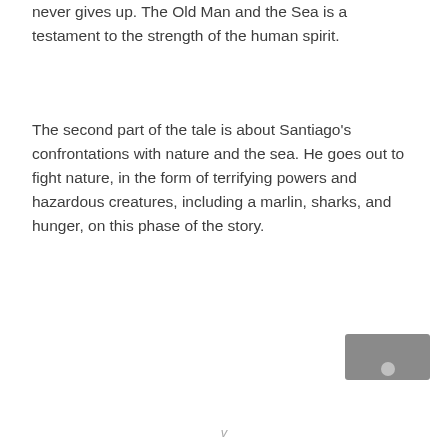never gives up. The Old Man and the Sea is a testament to the strength of the human spirit.
The second part of the tale is about Santiago's confrontations with nature and the sea. He goes out to fight nature, in the form of terrifying powers and hazardous creatures, including a marlin, sharks, and hunger, on this phase of the story.